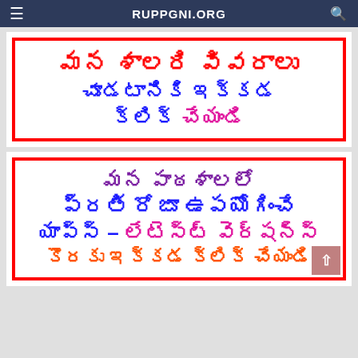RUPPGNI.ORG
[Figure (infographic): Telugu language banner with red border on white background. Text in red: మన శాలరి వివరాలు. Text in blue: చూడటానికి ఇక్కడ క్లిక్. Text in pink/magenta: చేయండి.]
[Figure (infographic): Telugu language banner with red border on white background. Text in purple: మన పాఠశాలలో. Text in blue: ప్రతి రోజూ ఉపయోగించే యాప్స్. Text mixed blue and pink: - లేటెస్ట్ వెర్షన్స్. Text in orange: కొరకు ఇక్కడ క్లిక్ చేయండి.]